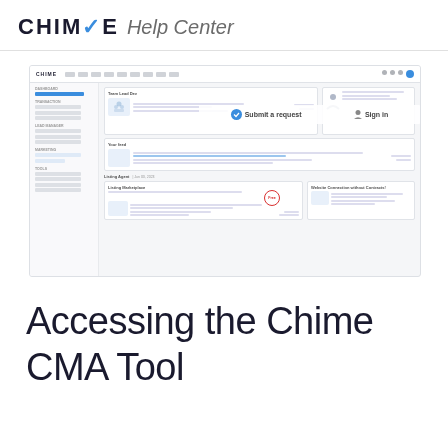CHIME Help Center
[Figure (screenshot): Screenshot of the Chime Help Center web interface showing the dashboard with navigation sidebar, content panels, 'Submit a request' button, 'Sign in' link, and a 'Free' badge highlighted with a red circle.]
Accessing the Chime CMA Tool